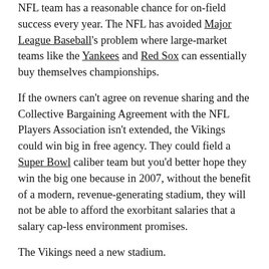NFL team has a reasonable chance for on-field success every year. The NFL has avoided Major League Baseball's problem where large-market teams like the Yankees and Red Sox can essentially buy themselves championships.
If the owners can't agree on revenue sharing and the Collective Bargaining Agreement with the NFL Players Association isn't extended, the Vikings could win big in free agency. They could field a Super Bowl caliber team but you'd better hope they win the big one because in 2007, without the benefit of a modern, revenue-generating stadium, they will not be able to afford the exorbitant salaries that a salary cap-less environment promises.
The Vikings need a new stadium.
But while we're dealing with stadiums, let's deal with all